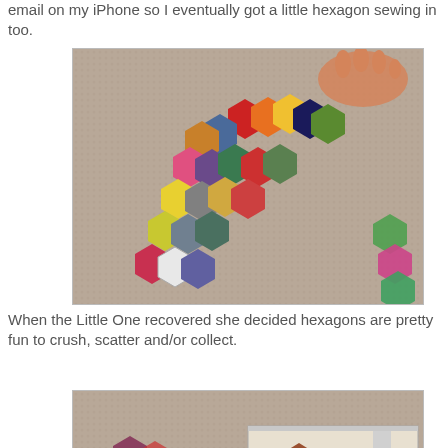email on my iPhone so I eventually got a little hexagon sewing in too.
[Figure (photo): Colorful fabric hexagon quilt pieces scattered on a carpet, with a child's hand reaching in from the top right.]
When the Little One recovered she decided hexagons are pretty fun to crush, scatter and/or collect.
[Figure (photo): Carpet with hexagon pieces partially visible, with an inset image showing hexagons collected in a box.]